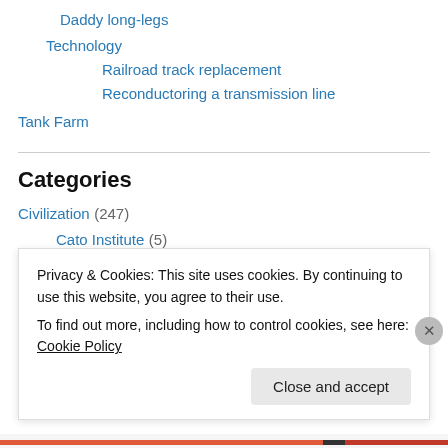Daddy long-legs
Technology
Railroad track replacement
Reconductoring a transmission line
Tank Farm
Categories
Civilization (247)
Cato Institute (5)
Food and drink (34)
Liberty (19)
Outdoors (315)
Privacy & Cookies: This site uses cookies. By continuing to use this website, you agree to their use.
To find out more, including how to control cookies, see here: Cookie Policy